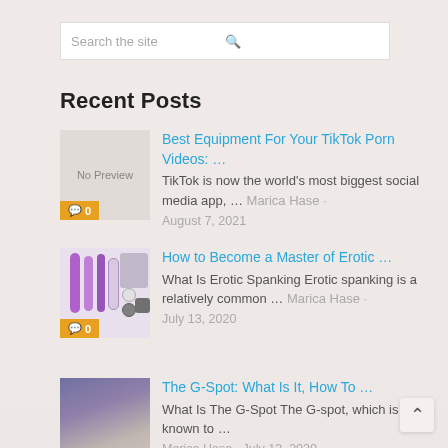Search the site
Recent Posts
Best Equipment For Your TikTok Porn Videos: ... TikTok is now the world's most biggest social media app, ... Marica Hase · August 7, 2021
How to Become a Master of Erotic ... What Is Erotic Spanking Erotic spanking is a relatively common ... Marica Hase · July 13, 2020
The G-Spot: What Is It, How To ... What Is The G-Spot The G-spot, which is known to ... Marica Hase · July 13, 2020